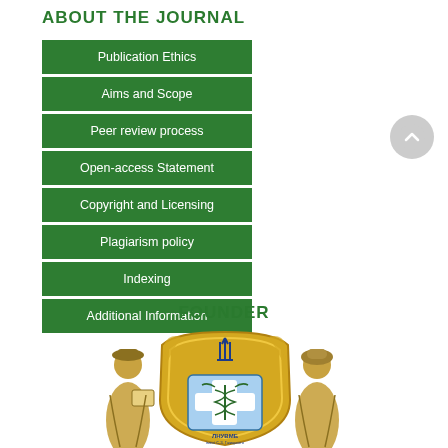ABOUT THE JOURNAL
Publication Ethics
Aims and Scope
Peer review process
Open-access Statement
Copyright and Licensing
Plagiarism policy
Indexing
Additional Information
FOUNDER
[Figure (logo): University crest/logo featuring two robed scholars flanking a golden shield with a medical cross symbol and Ukrainian trident, with text ЛНУВМБ at the bottom]